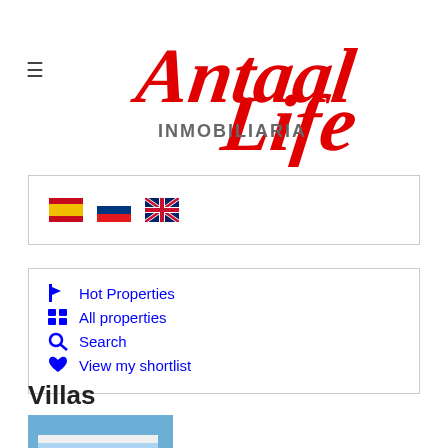[Figure (logo): Antaal Life Inmobiliaria logo in red cursive script with grey INMOBILIARIA text]
[Figure (illustration): Language selector with Spanish, Russian, and UK flag icons]
Hot Properties
All properties
Search
View my shortlist
Villas
[Figure (photo): Modern white villa building against blue sky]